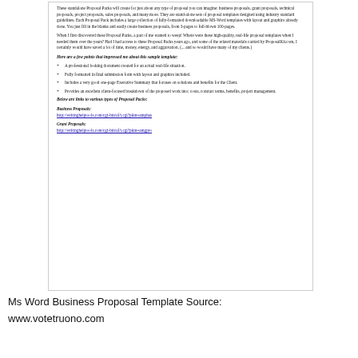These standalone Proposal Packs will create for just about any type of proposal you can imagine: business proposals, grant proposals, technical proposals, project proposals, sales proposals, and many more. They are stand-alone sets of proposal templates designed using industry standard guidelines. Each Proposal Pack includes a large collection of fully-formatted downloadable MS-Word templates with layout and graphics already done. You just fill in the blanks and easily create business proposals, from 3-pages to full-blown 100-pages.
When I first discovered these Proposal Packs, a part of me wanted to weep! Where were these high-quality, real-life proposal templates when I needed them over the years? Had I had access to these Proposal Packs years ago, and some of the related materials carried by ProposalKit.com, I certainly would have saved a lot of time, money, energy, and aggravation. (... and so would have many of my clients.)
Here are a few points that impressed me about this sample template:
A professional looking document created for an actual real-life situation.
Fully formatted in final submission form with layout and graphics included.
Includes a very good one-page Executive Summary that focuses on solutions and benefits for the Client.
Provides an excellent client-focused breakdown of the proposed work into: costs, contract terms, benefits, project management.
Below are links to various types of Proposal Packs:
Business Proposals:
http://writinghelptools.com/cgi-bin/af/t.cgi?pkin=amphas
Grant Proposals:
http://writinghelptools.com/cgi-bin/af/t.cgi?pkin=amgpro
Ms Word Business Proposal Template Source:
www.votetruono.com